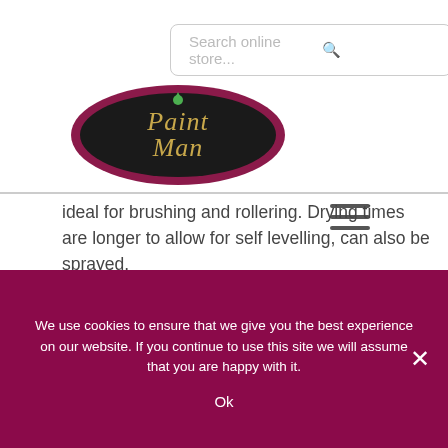[Figure (screenshot): Search bar with placeholder text 'Search online store...' and a search icon on the right]
[Figure (logo): Paint Man logo — dark oval with pink/maroon border, gold italic 'Paint Man' text with a green droplet icon on top]
[Figure (other): Hamburger menu icon — three horizontal lines]
ideal for brushing and rollering. Drying times are longer to allow for self levelling, can also be sprayed.
Quick drying Enamel – Spray Only – A quick drying formula
We use cookies to ensure that we give you the best experience on our website. If you continue to use this site we will assume that you are happy with it.
Ok